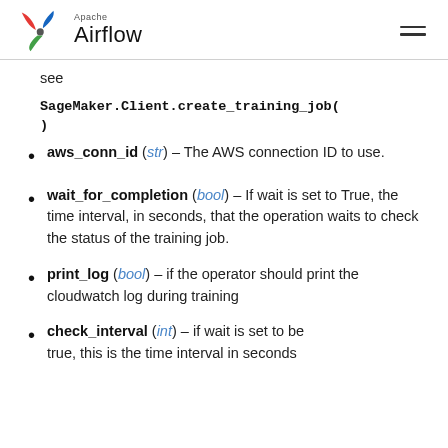Apache Airflow
see SageMaker.Client.create_training_job()
aws_conn_id (str) – The AWS connection ID to use.
wait_for_completion (bool) – If wait is set to True, the time interval, in seconds, that the operation waits to check the status of the training job.
print_log (bool) – if the operator should print the cloudwatch log during training
check_interval (int) – if wait is set to be true, this is the time interval in seconds